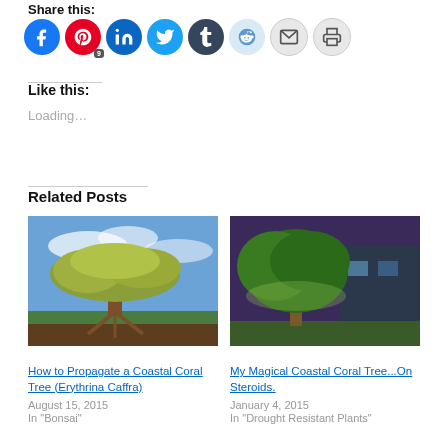Share this:
[Figure (other): Social sharing icon buttons: Facebook (blue), Pinterest (red, badge 9), LinkedIn (blue), Twitter (light blue), Tumblr (dark navy), Reddit (light blue), Email (gray), Print (gray)]
Like this:
Loading...
Related Posts
[Figure (photo): A wide-spreading tree with yellow-green foliage against a blue sky with clouds, roots visible below ground]
How to Propagate a Coastal Coral Tree (Erythrina Caffra)
August 15, 2015
In "Bonsai"
[Figure (photo): A green leafy tree lit at night against a purple sky near a building]
My Magical Coastal Coral Tree...On Steroids.
January 4, 2015
In "Drought Resistant Plants"